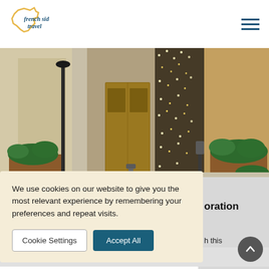french side travel
[Figure (photo): Street scene in Paris showing a storefront with hanging fairy lights/crystal curtain, planters with green shrubs, wooden doors and stone facade]
We use cookies on our website to give you the most relevant experience by remembering your preferences and repeat visits.
Cookie Settings  Accept All
oration
h this inerary
will start at the Grands Magasins, where